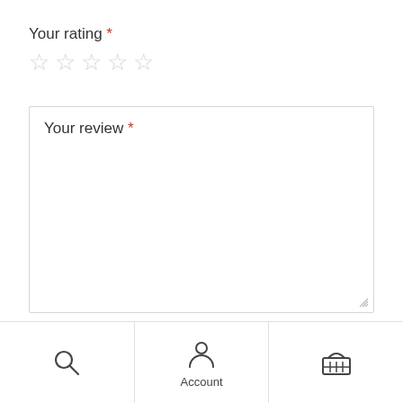Your rating *
[Figure (other): Five empty star rating icons in light gray]
Your review *
[Figure (other): Bottom navigation bar with search icon, Account icon with label, and shopping basket icon]